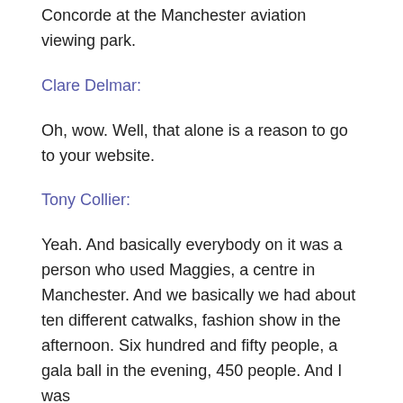Concorde at the Manchester aviation viewing park.
Clare Delmar:
Oh, wow. Well, that alone is a reason to go to your website.
Tony Collier:
Yeah. And basically everybody on it was a person who used Maggies, a centre in Manchester. And we basically we had about ten different catwalks, fashion show in the afternoon. Six hundred and fifty people, a gala ball in the evening, 450 people. And I was